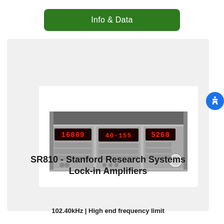Info & Data
[Figure (photo): Photo of SR810 Stanford Research Systems Lock-in Amplifier instrument rack unit with red LED displays showing numerical readings]
SR810 - Stanford Research Systems Lock-in Amplifiers
102.40kHz | High end frequency limit